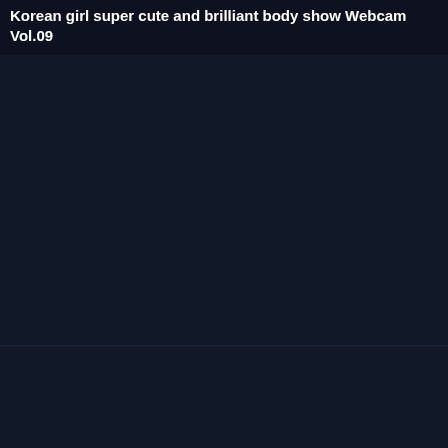Korean girl super cute and brilliant body show Webcam Vol.09
[Figure (screenshot): Dark thumbnail placeholder for video]
Cool Big Tits Chinese Girl Dildo Cucumber Park Public Cam
[Figure (screenshot): Dark thumbnail placeholder for a second video with scroll-to-top button]